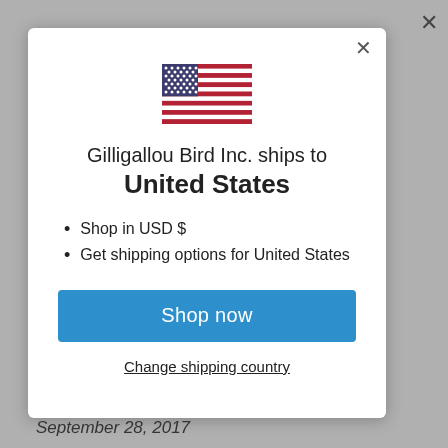[Figure (screenshot): US flag emoji/icon — stripes of red and white with blue canton and white stars]
Gilligallou Bird Inc. ships to United States
Shop in USD $
Get shipping options for United States
Shop now
Change shipping country
September 28, 2017